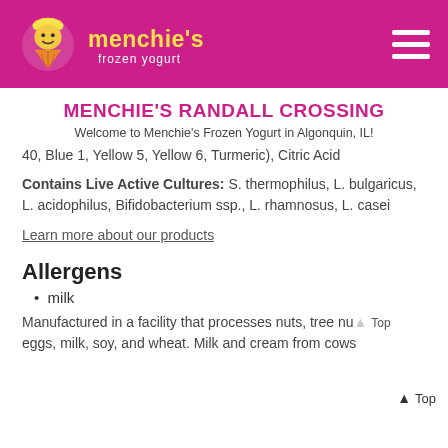[Figure (logo): Menchie's Frozen Yogurt logo with pink/magenta header bar and hamburger menu icon]
MENCHIE'S RANDALL CROSSING
Welcome to Menchie's Frozen Yogurt in Algonquin, IL!
40, Blue 1, Yellow 5, Yellow 6, Turmeric), Citric Acid
Contains Live Active Cultures: S. thermophilus, L. bulgaricus, L. acidophilus, Bifidobacterium ssp., L. rhamnosus, L. casei
Learn more about our products
Allergens
milk
Manufactured in a facility that processes nuts, tree nu eggs, milk, soy, and wheat. Milk and cream from cows